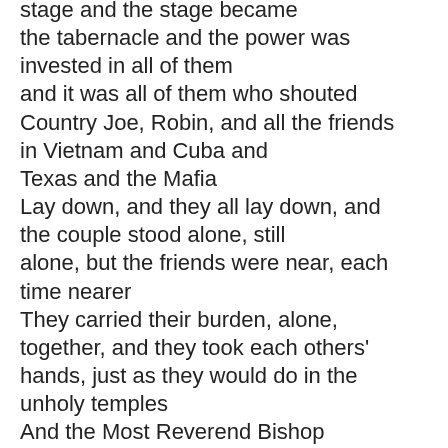stage and the stage became the tabernacle and the power was invested in all of them and it was all of them who shouted Country Joe, Robin, and all the friends in Vietnam and Cuba and Texas and the Mafia Lay down, and they all lay down, and the couple stood alone, still alone, but the friends were near, each time nearer They carried their burden, alone, together, and they took each others' hands, just as they would do in the unholy temples And the Most Reverend Bishop Mackerel said "May the Lord bless you by giving you children" and the audience didn't laugh For the time had come when the laughter became serious, the moment, the instant at which the laws of God, of the Great Potato and the